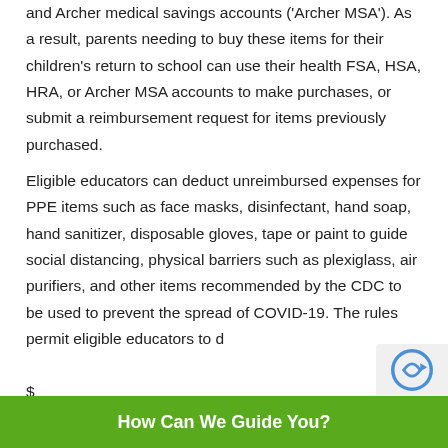and Archer medical savings accounts ('Archer MSA'). As a result, parents needing to buy these items for their children's return to school can use their health FSA, HSA, HRA, or Archer MSA accounts to make purchases, or submit a reimbursement request for items previously purchased.
Eligible educators can deduct unreimbursed expenses for PPE items such as face masks, disinfectant, hand soap, hand sanitizer, disposable gloves, tape or paint to guide social distancing, physical barriers such as plexiglass, air purifiers, and other items recommended by the CDC to be used to prevent the spread of COVID-19. The rules permit eligible educators to deduct up to $250 of qualifying...
How Can We Guide You?